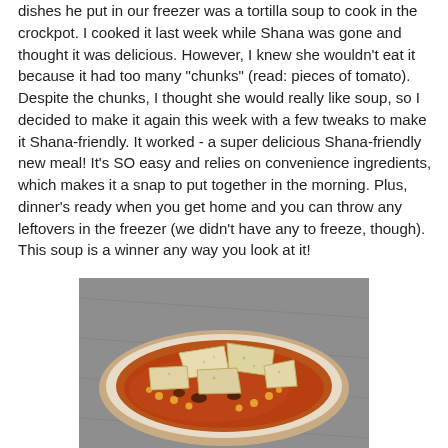dishes he put in our freezer was a tortilla soup to cook in the crockpot. I cooked it last week while Shana was gone and thought it was delicious. However, I knew she wouldn't eat it because it had too many "chunks" (read: pieces of tomato). Despite the chunks, I thought she would really like soup, so I decided to make it again this week with a few tweaks to make it Shana-friendly. It worked - a super delicious Shana-friendly new meal! It's SO easy and relies on convenience ingredients, which makes it a snap to put together in the morning. Plus, dinner's ready when you get home and you can throw any leftovers in the freezer (we didn't have any to freeze, though). This soup is a winner any way you look at it!
[Figure (photo): A bowl of tortilla soup with red/orange broth, beans, and tortilla chips floating on top, photographed on a gray surface.]